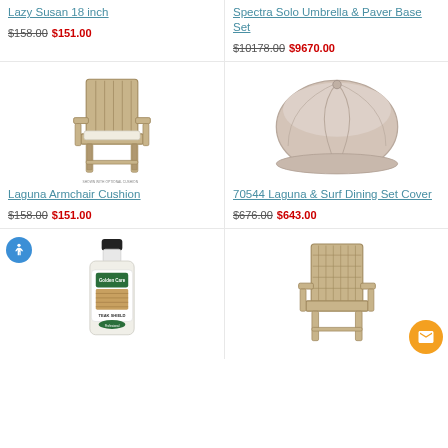Lazy Susan 18 inch
$158.00 $151.00
Spectra Solo Umbrella & Paver Base Set
$10178.00 $9670.00
[Figure (photo): Teak outdoor armchair with white cushion, text 'SHOWN WITH OPTIONAL CUSHION' below]
Laguna Armchair Cushion
$158.00 $151.00
[Figure (photo): Beige outdoor furniture cover, round shape]
70544 Laguna & Surf Dining Set Cover
$676.00 $643.00
[Figure (photo): Golden Care Teak Shield bottle]
[Figure (photo): Teak outdoor armchair without cushion]